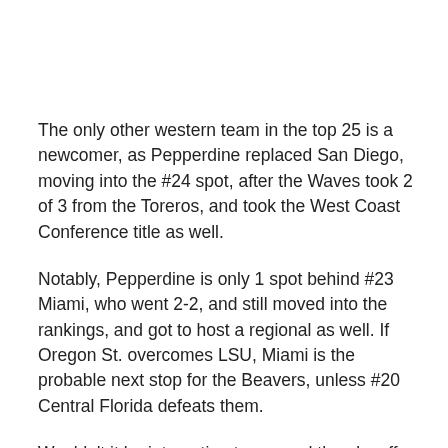The only other western team in the top 25 is a newcomer, as Pepperdine replaced San Diego, moving into the #24 spot, after the Waves took 2 of 3 from the Toreros, and took the West Coast Conference title as well.
Notably, Pepperdine is only 1 spot behind #23 Miami, who went 2-2, and still moved into the rankings, and got to host a regional as well. If Oregon St. overcomes LSU, Miami is the probable next stop for the Beavers, unless #20 Central Florida defeats them.
Wouldn't it be interesting to re-seed the playoffs based